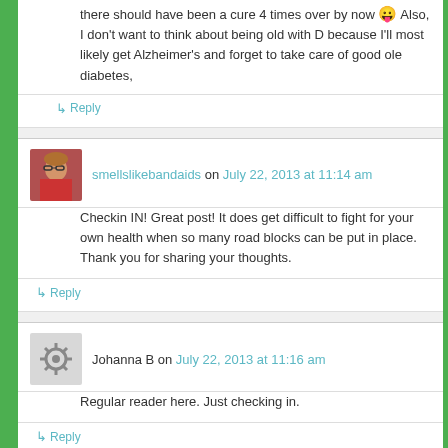there should have been a cure 4 times over by now 😛 Also, I don't want to think about being old with D because I'll most likely get Alzheimer's and forget to take care of good ole diabetes,
↳ Reply
smellslikebandaids on July 22, 2013 at 11:14 am
Checkin IN! Great post! It does get difficult to fight for your own health when so many road blocks can be put in place. Thank you for sharing your thoughts.
↳ Reply
Johanna B on July 22, 2013 at 11:16 am
Regular reader here. Just checking in.
↳ Reply
Abby on July 22, 2013 at 11:23 am